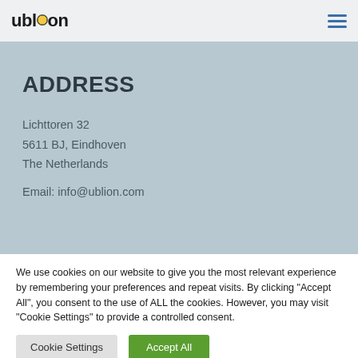ublion (logo) | hamburger menu
ADDRESS
Lichttoren 32
5611 BJ, Eindhoven
The Netherlands
Email: info@ublion.com
We use cookies on our website to give you the most relevant experience by remembering your preferences and repeat visits. By clicking "Accept All", you consent to the use of ALL the cookies. However, you may visit "Cookie Settings" to provide a controlled consent.
Cookie Settings | Accept All